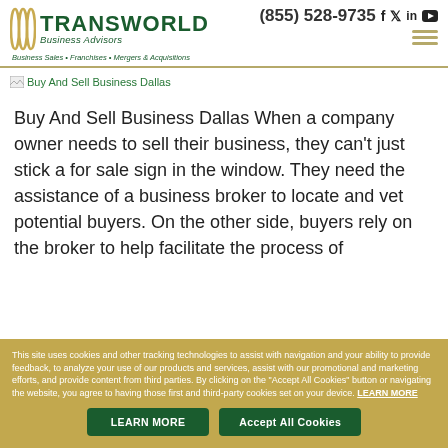(855) 528-9735
[Figure (logo): Transworld Business Advisors logo with tagline: Business Sales • Franchises • Mergers & Acquisitions]
[Figure (photo): Buy And Sell Business Dallas image placeholder]
Buy And Sell Business Dallas When a company owner needs to sell their business, they can't just stick a for sale sign in the window. They need the assistance of a business broker to locate and vet potential buyers. On the other side, buyers rely on the broker to help facilitate the process of
This site uses cookies and other tracking technologies to assist with navigation and your ability to provide feedback, to analyze your use of our products and services, assist with our promotional and marketing efforts, and provide content from third parties. By clicking on the "Accept All Cookies" button or navigating the website, you agree to having those first and third-party cookies set on your device. LEARN MORE